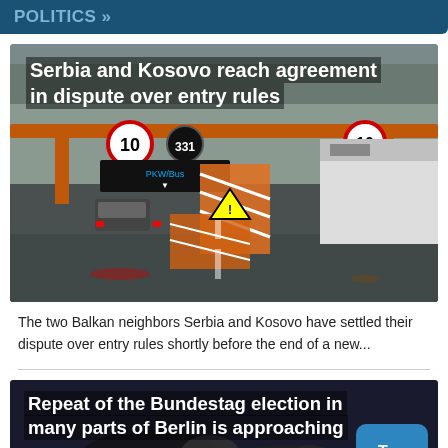POLITICS »
[Figure (photo): A border crossing or highway checkpoint with trucks, cars, orange overhead gantry structure, and warning signs including speed limit signs showing '10', photographed in rainy/grey conditions]
Serbia and Kosovo reach agreement in dispute over entry rules
The two Balkan neighbors Serbia and Kosovo have settled their dispute over entry rules shortly before the end of a new...
[Figure (photo): Dark/night image related to the Bundestag election repeat in Berlin, with a blue 'Top' button overlaid]
Repeat of the Bundestag election in many parts of Berlin is approaching